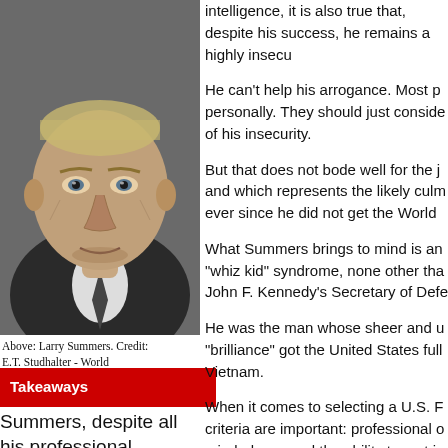[Figure (photo): Black and white photo of Larry Summers, a middle-aged man in a suit with a serious expression.]
Above: Larry Summers. Credit: E.T. Studhalter - World Economic Forum (CC BY-SA 2.0)
Takeaways
Summers, despite all his professional success, remains a highly
intelligence, it is also true that, despite his success, he remains a highly insecu
He can't help his arrogance. Most p personally. They should just conside of his insecurity.
But that does not bode well for the j and which represents the likely culm ever since he did not get the World
What Summers brings to mind is an "whiz kid" syndrome, none other tha John F. Kennedy's Secretary of Defe
He was the man whose sheer and u "brilliance" got the United States full Vietnam.
When it comes to selecting a U.S. F criteria are important: professional o mindedness and the ability to rest in Unfortunately, Larry Summers score